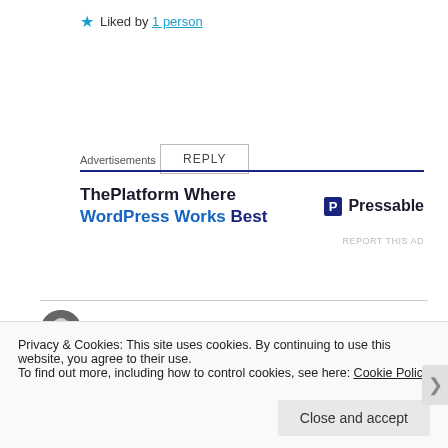★ Liked by 1 person
REPLY
Advertisements
[Figure (other): Advertisement for Pressable - ThePlatform Where WordPress Works Best]
REPORT THIS AD
tiffanyarpdaleo
11th Feb 2020 at 6:43 am
Glad to hear your hubby got the roof fixed, sorry about
Privacy & Cookies: This site uses cookies. By continuing to use this website, you agree to their use.
To find out more, including how to control cookies, see here: Cookie Policy
Close and accept